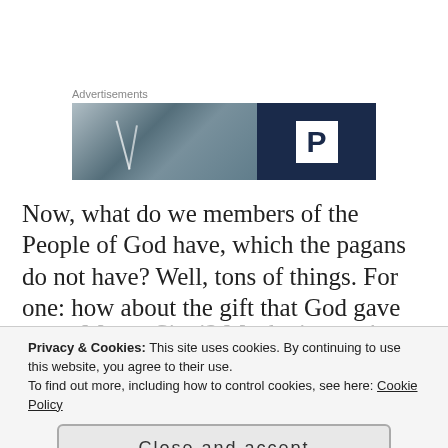Advertisements
[Figure (photo): Advertisement banner with a photo of a person on the left and a dark blue panel with a white 'P' box logo on the right.]
Now, what do we members of the People of God have, which the pagans do not have? Well, tons of things. For one: how about the gift that God gave to
Privacy & Cookies: This site uses cookies. By continuing to use this website, you agree to their use.
To find out more, including how to control cookies, see here: Cookie Policy
Close and accept